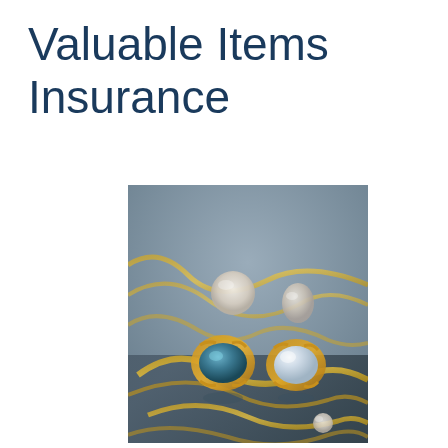Valuable Items Insurance
[Figure (photo): Close-up photograph of various pieces of gold jewelry including rings with gemstones (a blue cabochon ring and a clear crystal/diamond ring), pearl earrings or pendants, and gold chains, arranged on a reflective grey surface.]